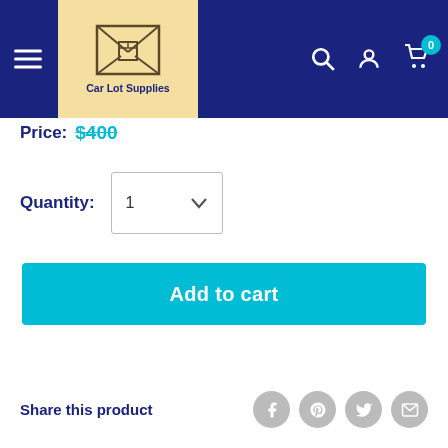Car Lot Supplies — navigation header with logo, search, account, and cart icons
Price: $400
Quantity: 1
Add to cart
Share this product